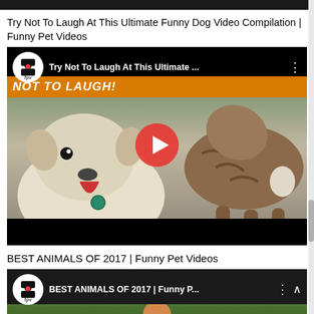[Figure (screenshot): Dark top bar strip]
Try Not To Laugh At This Ultimate Funny Dog Video Compilation | Funny Pet Videos
[Figure (screenshot): YouTube embedded video player showing two dogs playing, with FPV logo, title 'Try Not To Laugh At This Ultimate ...', orange banner 'NOT TO LAUGH!', red play button, and black bars top and bottom.]
BEST ANIMALS OF 2017 | Funny Pet Videos
[Figure (screenshot): YouTube embedded video player showing 'BEST ANIMALS OF 2017 | Funny P...' with FPV logo and partial dog image visible.]